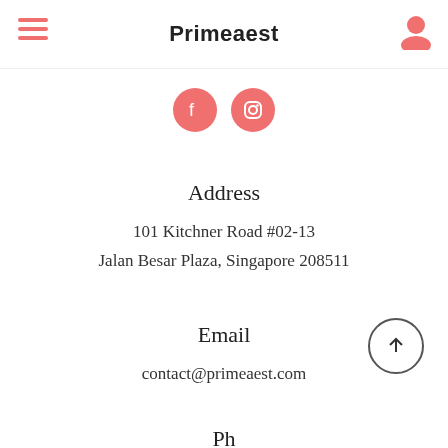Primeaest
[Figure (illustration): Two coral/salmon colored circular social media icons (Facebook and Instagram) side by side]
Address
101 Kitchner Road #02-13
Jalan Besar Plaza, Singapore 208511
Email
contact@primeaest.com
Ph